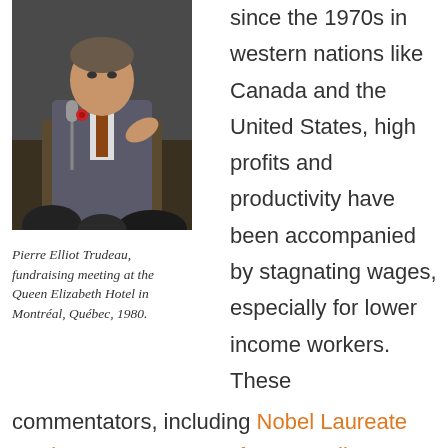[Figure (photo): Photo of Pierre Elliot Trudeau speaking at a podium, wearing a suit with a red flower pin, gesturing with right hand]
Pierre Elliot Trudeau, fundraising meeting at the Queen Elizabeth Hotel in Montréal, Québec, 1980.
since the 1970s in western nations like Canada and the United States, high profits and productivity have been accompanied by stagnating wages, especially for lower income workers. These
commentators, including Nobel Laureate Paul Krugman, MIT professors Erik Brynjolfsson and Andrew McAfee, The New York Times' Steven Greenhouse, and UNIFOR economist Jim Stanford, have argued that in the 1970s wages became